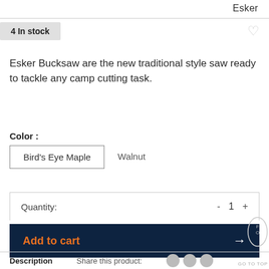Esker
4 In stock
Esker Bucksaw are the new traditional style saw ready to tackle any camp cutting task.
Color :
Bird's Eye Maple
Walnut
Quantity: - 1 +
Add to cart
GO TO TOP
Description
Share this product: